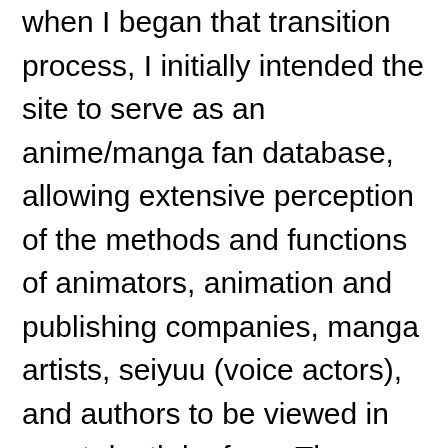when I began that transition process, I initially intended the site to serve as an anime/manga fan database, allowing extensive perception of the methods and functions of animators, animation and publishing companies, manga artists, seiyuu (voice actors), and authors to be viewed in great depth by fans. The information provided would help aspiring manga artists learn what steps they need to take in order to reach their goals, whether it's to have their very own manga published or anything else the fun and inspiring world of manga offers; and amateur animators can view tips and tricks to make their animations look more professional. In addition, I planned to continue Mahou no Ichigo's original purpose of showing off fanworks like fan art, original characters within a fandom, doujinshi